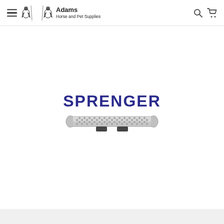Adams Horse and Pet Supplies
[Figure (logo): Sprenger brand logo with a perforated metal plate product below it. The word SPRENGER in large bold dark blue letters sits above a wide flat metallic perforated plate with wavy/scalloped edges and two dark rubber feet on the bottom.]